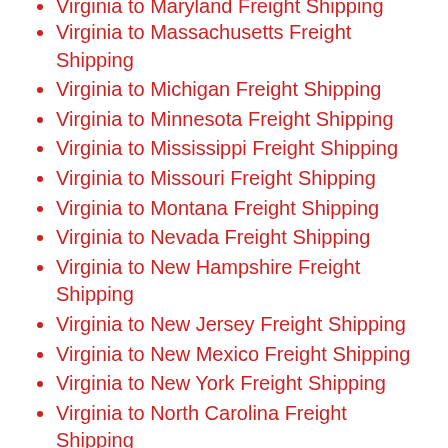Virginia to Maryland Freight Shipping (partial, top cut off)
Virginia to Massachusetts Freight Shipping
Virginia to Michigan Freight Shipping
Virginia to Minnesota Freight Shipping
Virginia to Mississippi Freight Shipping
Virginia to Missouri Freight Shipping
Virginia to Montana Freight Shipping
Virginia to Nevada Freight Shipping
Virginia to New Hampshire Freight Shipping
Virginia to New Jersey Freight Shipping
Virginia to New Mexico Freight Shipping
Virginia to New York Freight Shipping
Virginia to North Carolina Freight Shipping
Virginia to North Dakota Freight Shipping
Virginia to Ohio Freight Shipping
Virginia to Oklahoma Freight Shipping (partial, bottom cut off)